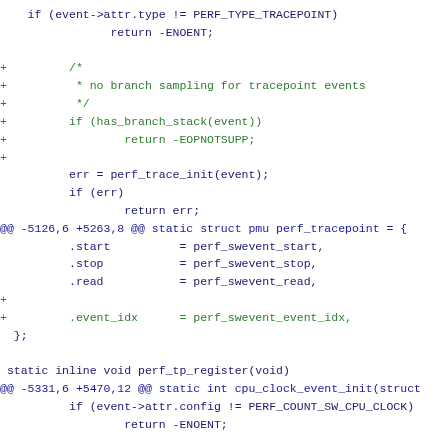Code diff showing perf tracepoint and cpu_clock_event_init code with additions for branch sampling check and event_idx field
[Figure (screenshot): Source code diff in monospace font showing C kernel code with green added lines and blue diff headers]